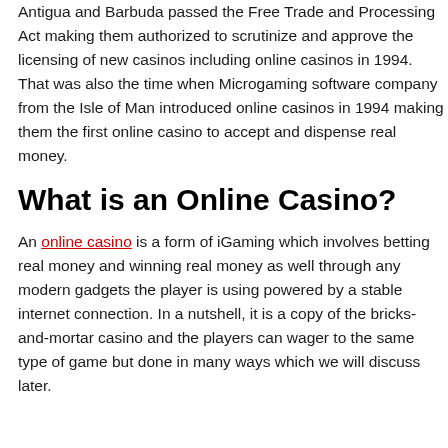Antigua and Barbuda passed the Free Trade and Processing Act making them authorized to scrutinize and approve the licensing of new casinos including online casinos in 1994. That was also the time when Microgaming software company from the Isle of Man introduced online casinos in 1994 making them the first online casino to accept and dispense real money.
What is an Online Casino?
An online casino is a form of iGaming which involves betting real money and winning real money as well through any modern gadgets the player is using powered by a stable internet connection. In a nutshell, it is a copy of the bricks-and-mortar casino and the players can wager to the same type of game but done in many ways which we will discuss later.